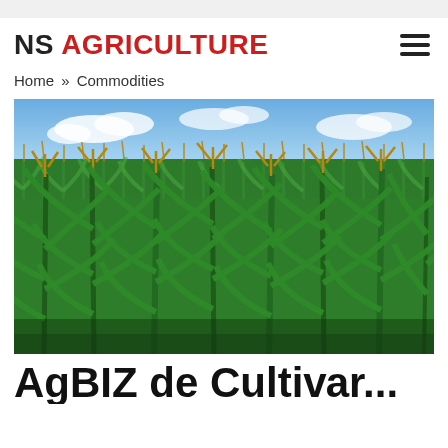NS AGRICULTURE
Home » Commodities
[Figure (photo): A field of tall corn/maize plants with tassels visible at the top, blue sky with clouds in the background. The photo shows dense green corn stalks filling the frame.]
AgBIZ de Cultivar...